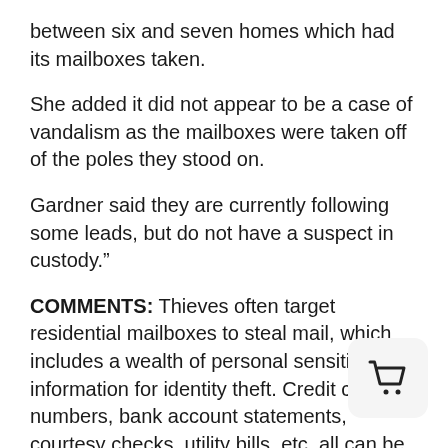between six and seven homes which had its mailboxes taken.
She added it did not appear to be a case of vandalism as the mailboxes were taken off of the poles they stood on.
Gardner said they are currently following some leads, but do not have a suspect in custody.”
COMMENTS: Thieves often target residential mailboxes to steal mail, which includes a wealth of personal sensitive information for identity theft. Credit card numbers, bank account statements, courtesy checks, utility bills, etc. all can be used to steal your ID. However, it’s pretty uncommon for thieves to take your WHOLE mailbox. Regardless, mail identity theft is on the rise, and it makes no
[Figure (illustration): Shopping cart icon in a rounded square button]